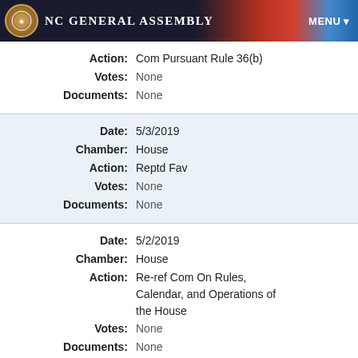NC General Assembly MENU
| Field | Value |
| --- | --- |
| Action: | Com Pursuant Rule 36(b) |
| Votes: | None |
| Documents: | None |
| Date: | 5/3/2019 |
| Chamber: | House |
| Action: | Reptd Fav |
| Votes: | None |
| Documents: | None |
| Date: | 5/2/2019 |
| Chamber: | House |
| Action: | Re-ref Com On Rules, Calendar, and Operations of the House |
| Votes: | None |
| Documents: | None |
| Date: | 5/2/2019 |
| Chamber: | House |